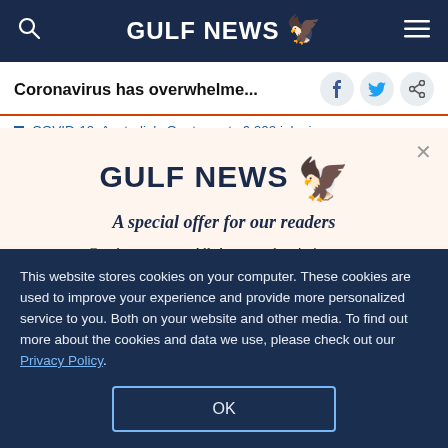GULF NEWS
Coronavirus has overwhelme...
COVID-19: Australia's Qantas cuts 6,000 jobs in
[Figure (infographic): Gulf News subscription modal overlay with logo, offer text 'A special offer for our readers', and subtext 'Get the two years All-Access subscription now']
This website stores cookies on your computer. These cookies are used to improve your experience and provide more personalized service to you. Both on your website and other media. To find out more about the cookies and data we use, please check out our Privacy Policy.
OK